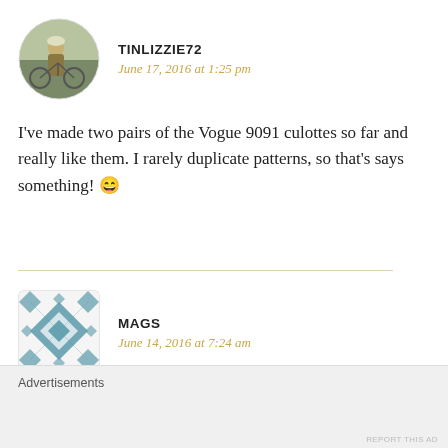[Figure (photo): Circular avatar photo of a person with a bicycle, outdoors]
TINLIZZIE72
June 17, 2016 at 1:25 pm
I've made two pairs of the Vogue 9091 culottes so far and really like them. I rarely duplicate patterns, so that's says something! 😄
[Figure (illustration): Teal geometric tile pattern used as avatar for user MAGS]
MAGS
June 14, 2016 at 7:24 am
Lovely, that silk is gorgeous and the colour looks great
Advertisements